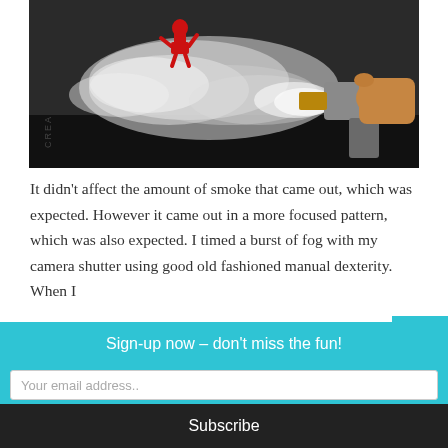[Figure (photo): A hand holding a heat gun/fog machine nozzle pointed at a red action figure on a dark surface, with white smoke billowing out. The word 'CREALITY' is visible on the dark platform.]
It didn't affect the amount of smoke that came out, which was expected. However it came out in a more focused pattern, which was also expected. I timed a burst of fog with my camera shutter using good old fashioned manual dexterity. When I
Sign-up now - don't miss the fun!
Your email address..
Subscribe